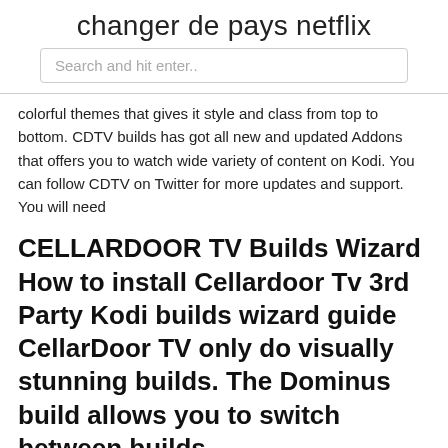changer de pays netflix
Search and hit enter..
colorful themes that gives it style and class from top to bottom. CDTV builds has got all new and updated Addons that offers you to watch wide variety of content on Kodi. You can follow CDTV on Twitter for more updates and support. You will need
CELLARDOOR TV Builds Wizard How to install Cellardoor Tv 3rd Party Kodi builds wizard guide CellarDoor TV only do visually stunning builds. The Dominus build allows you to switch between builds.
Mar 10, 2019 Now the CellarDoorTV Wizard is installed and you can now go ahead and install the CellarDoor TV Kodi build. Step 21: Another pop will appear  With Georgina Gayler,